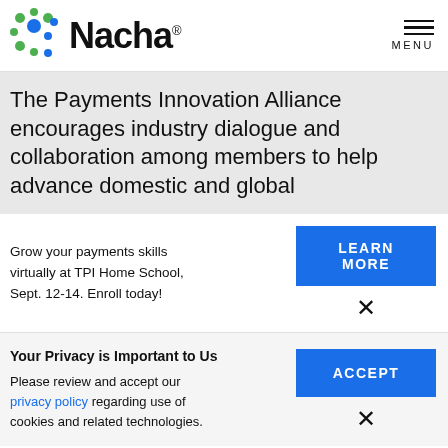[Figure (logo): Nacha logo with colored dots pattern and Nacha wordmark]
The Payments Innovation Alliance encourages industry dialogue and collaboration among members to help advance domestic and global
Grow your payments skills virtually at TPI Home School, Sept. 12-14. Enroll today!
LEARN MORE
×
Your Privacy is Important to Us
Please review and accept our privacy policy regarding use of cookies and related technologies.
ACCEPT
×